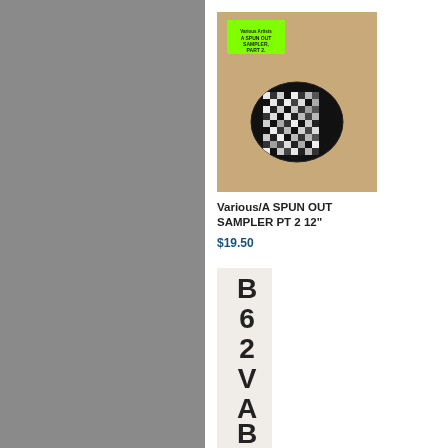[Figure (photo): Album cover for Various/A SPUN OUT SAMPLER PT 2 - beige/kraft paper background with green neon label in top left and black/white distorted oval pattern in center]
Various/A SPUN OUT SAMPLER PT 2 12"
$19.50
[Figure (photo): Partial album cover partially cropped on right side - dark background with bold text]
$18.0
[Figure (photo): Vinyl record for Various/A-SIDES VOL 7 PT 1 - black record visible with A-SIDES VOL 7 label and space/planet imagery]
Various/A-SIDES VOL 7 PT 1 12"
$21.00
[Figure (photo): Partial black vinyl record partially cropped on right]
$21.